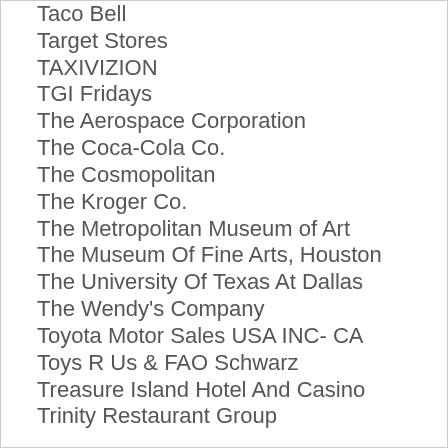Taco Bell
Target Stores
TAXIVIZION
TGI Fridays
The Aerospace Corporation
The Coca-Cola Co.
The Cosmopolitan
The Kroger Co.
The Metropolitan Museum of Art
The Museum Of Fine Arts, Houston
The University Of Texas At Dallas
The Wendy's Company
Toyota Motor Sales USA INC- CA
Toys R Us & FAO Schwarz
Treasure Island Hotel And Casino
Trinity Restaurant Group